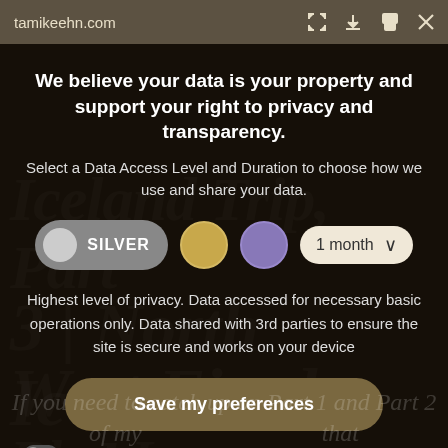tamikeehn.com
We believe your data is your property and support your right to privacy and transparency.
Select a Data Access Level and Duration to choose how we use and share your data.
[Figure (screenshot): Privacy consent modal with Silver level selected, gold and purple level icons, and 1 month duration dropdown]
Highest level of privacy. Data accessed for necessary basic operations only. Data shared with 3rd parties to ensure the site is secure and works on your device
Save my preferences
Customize   Privacy policy